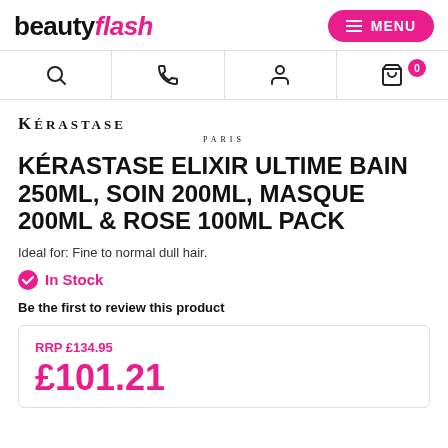beauty flash — MENU
[Figure (screenshot): Icon navigation bar with search, phone, account, and cart (0 items) icons]
[Figure (logo): Kerastase Paris brand logo]
KÉRASTASE ELIXIR ULTIME BAIN 250ML, SOIN 200ML, MASQUE 200ML & ROSE 100ML PACK
Ideal for: Fine to normal dull hair.
In Stock
Be the first to review this product
RRP £134.95
£101.21